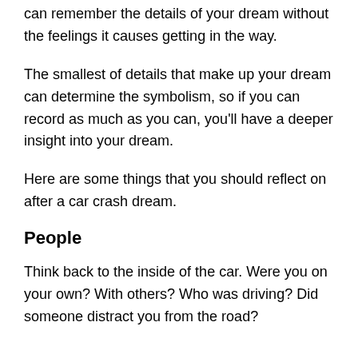can remember the details of your dream without the feelings it causes getting in the way.
The smallest of details that make up your dream can determine the symbolism, so if you can record as much as you can, you'll have a deeper insight into your dream.
Here are some things that you should reflect on after a car crash dream.
People
Think back to the inside of the car. Were you on your own? With others? Who was driving? Did someone distract you from the road?